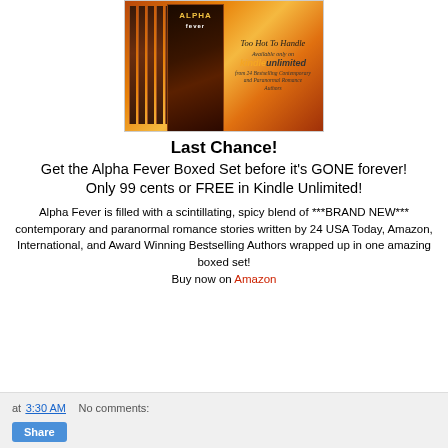[Figure (illustration): Book cover image for Alpha Fever boxed set showing multiple book spines with flames background, with 'Too Hot To Handle' text and Kindle Unlimited branding on the right side]
Last Chance!
Get the Alpha Fever Boxed Set before it's GONE forever!
Only 99 cents or FREE in Kindle Unlimited!
Alpha Fever is filled with a scintillating, spicy blend of ***BRAND NEW*** contemporary and paranormal romance stories written by 24 USA Today, Amazon, International, and Award Winning Bestselling Authors wrapped up in one amazing boxed set!
Buy now on Amazon
at 3:30 AM   No comments:   Share